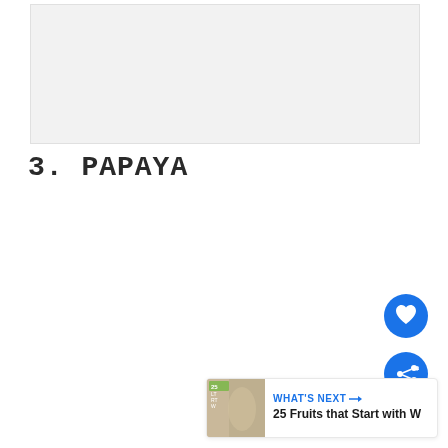[Figure (photo): Light gray image placeholder area at top of page]
3. PAPAYA
[Figure (other): Heart (favorite) button - blue circle with white heart icon]
[Figure (other): Share button - blue circle with share/connect icon]
WHAT'S NEXT → 25 Fruits that Start with W